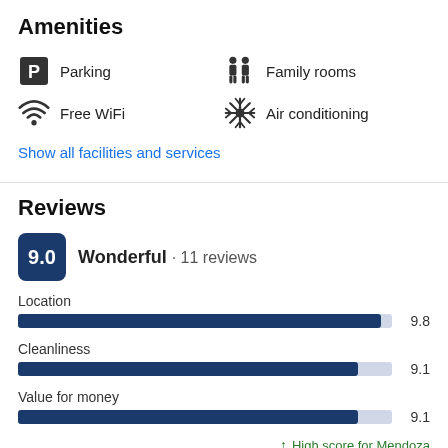Amenities
Parking
Free WiFi
Family rooms
Air conditioning
Show all facilities and services
Reviews
9.0  Wonderful · 11 reviews
[Figure (bar-chart): Location]
↑ High score for Mendoza